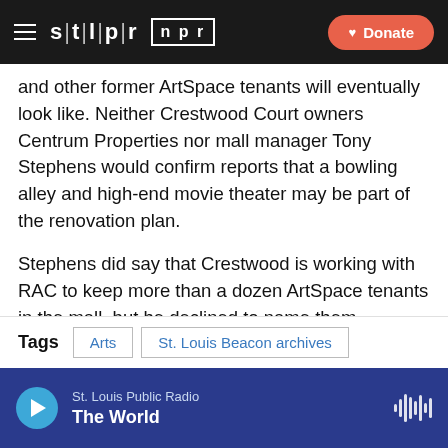STLPR NPR — Donate
and other former ArtSpace tenants will eventually look like. Neither Crestwood Court owners Centrum Properties nor mall manager Tony Stephens would confirm reports that a bowling alley and high-end movie theater may be part of the renovation plan.
Stephens did say that Crestwood is working with RAC to keep more than a dozen ArtSpace tenants in the mall, but he declined to name them.
“We’re in discussion who is staying and how long they’re going to stay,” Stephens said.
Tags: Arts | St. Louis Beacon archives
St. Louis Public Radio — The World